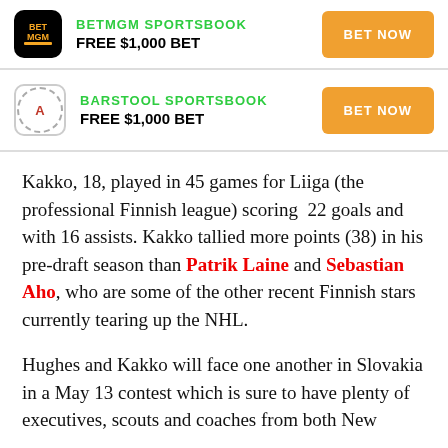[Figure (logo): BetMGM Sportsbook advertisement with logo, FREE $1,000 BET offer, and BET NOW button]
[Figure (logo): Barstool Sportsbook advertisement with logo, FREE $1,000 BET offer, and BET NOW button]
Kakko, 18, played in 45 games for Liiga (the professional Finnish league) scoring 22 goals and with 16 assists. Kakko tallied more points (38) in his pre-draft season than Patrik Laine and Sebastian Aho, who are some of the other recent Finnish stars currently tearing up the NHL.
Hughes and Kakko will face one another in Slovakia in a May 13 contest which is sure to have plenty of executives, scouts and coaches from both New